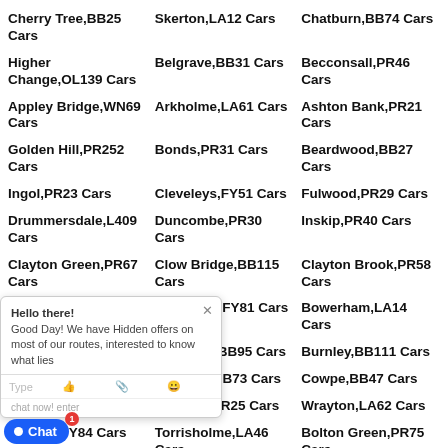Cherry Tree,BB25 Cars
Skerton,LA12 Cars
Chatburn,BB74 Cars
Higher Change,OL139 Cars
Belgrave,BB31 Cars
Becconsall,PR46 Cars
Appley Bridge,WN69 Cars
Arkholme,LA61 Cars
Ashton Bank,PR21 Cars
Golden Hill,PR252 Cars
Bonds,PR31 Cars
Beardwood,BB27 Cars
Ingol,PR23 Cars
Cleveleys,FY51 Cars
Fulwood,PR29 Cars
Drummersdale,L409 Cars
Duncombe,PR30 Cars
Inskip,PR40 Cars
Clayton Green,PR67 Cars
Clow Bridge,BB115 Cars
Clayton Brook,PR58 Cars
Clayton-le-Moors Cars
Fairhaven,FY81 Cars
Bowerham,LA14 Cars
Bracewells Cars
Brierfield,BB95 Cars
Burnley,BB111 Cars
Cowling Cars
Cow Ark,BB73 Cars
Cowpe,BB47 Cars
Crag Bank Cars
Cow Hill,PR25 Cars
Wrayton,LA62 Cars
Ansdell,FY84 Cars
Torrisholme,LA46 Cars
Bolton Green,PR75 Cars
Bangors Green,L398
Cockers Bar,PR267 Cars
Croft,PR495 Cars